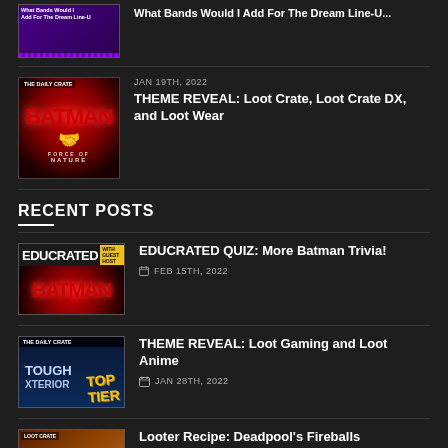[Figure (photo): Purple-themed thumbnail with text 'What Bands Would I Add For The Dream Line-Up']
JAN 19TH, 2022 — THEME REVEAL: Loot Crate, Loot Crate DX, and Loot Wear
RECENT POSTS
EDUCRATED QUIZ: More Batman Trivia! — FEB 15TH, 2022
THEME REVEAL: Loot Gaming and Loot Anime — JAN 28TH, 2022
Looter Recipe: Deadpool's Fireballs